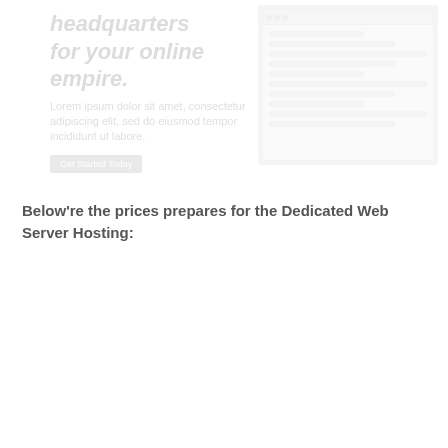[Figure (screenshot): Faded website banner showing text 'headquarters for your online empire.' with a screenshot of a web interface on the right side]
Below're the prices prepares for the Dedicated Web Server Hosting: